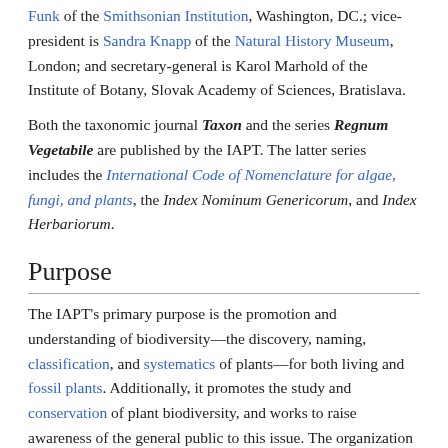Funk of the Smithsonian Institution, Washington, DC.; vice-president is Sandra Knapp of the Natural History Museum, London; and secretary-general is Karol Marhold of the Institute of Botany, Slovak Academy of Sciences, Bratislava.
Both the taxonomic journal Taxon and the series Regnum Vegetabile are published by the IAPT. The latter series includes the International Code of Nomenclature for algae, fungi, and plants, the Index Nominum Genericorum, and Index Herbariorum.
Purpose
The IAPT's primary purpose is the promotion and understanding of biodiversity—the discovery, naming, classification, and systematics of plants—for both living and fossil plants. Additionally, it promotes the study and conservation of plant biodiversity, and works to raise awareness of the general public to this issue. The organization also facilitates international cooperation among botanists working in the fields of plant systematics, taxonomy, and nomenclature. This is accomplished in part through sponsorship of meetings and publication of resources, such as reference publications and